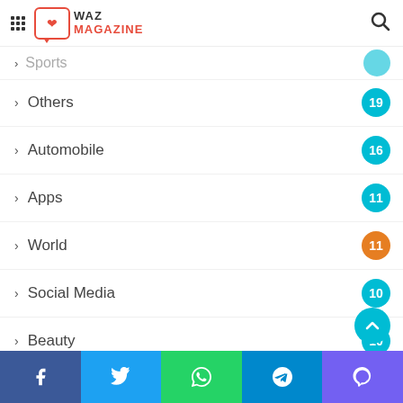WAZ MAGAZINE
Others 19
Automobile 16
Apps 11
World 11
Social Media 10
Beauty 10
Auto 9
Music 5
COVID-19 4
Movies
Facebook Twitter WhatsApp Telegram Viber